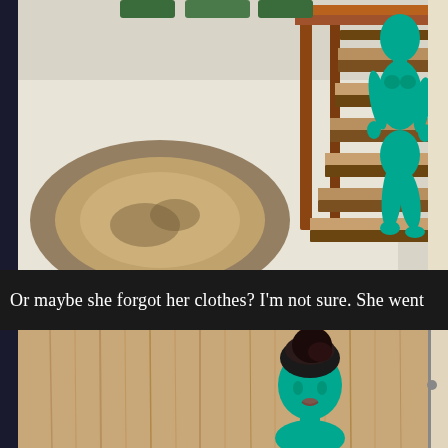[Figure (screenshot): Screenshot from a video game (The Sims) showing a teal/green-skinned nude female character walking down wooden stairs in a house interior with a circular rug on the floor.]
Or maybe she forgot her clothes? I'm not sure. She went
[Figure (screenshot): Screenshot from a video game (The Sims) showing a teal/green-skinned female character with dark hair standing near a wooden wall interior, partially visible from the waist up.]